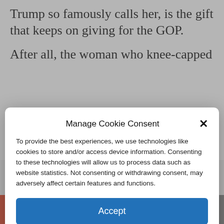Trump so famously calls her, is the gift that keeps on giving for the GOP.
After all, the woman who knee-capped
Manage Cookie Consent
To provide the best experiences, we use technologies like cookies to store and/or access device information. Consenting to these technologies will allow us to process data such as website statistics. Not consenting or withdrawing consent, may adversely affect certain features and functions.
Accept
Cookie Policy   Privacy Policy
Trump won. What that map
+ f 🐦 ⬡ ✉